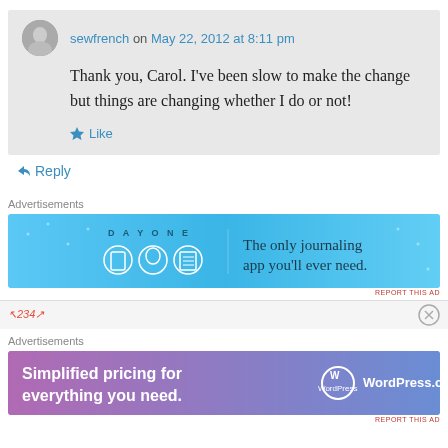sewfrench on May 22, 2012 at 8:11 pm
Thank you, Carol. I've been slow to make the change but things are changing whether I do or not!
Like
Reply
Advertisements
[Figure (other): Day One journaling app advertisement banner with blue background, app icons, and tagline: The only journaling app you'll ever need.]
REPORT THIS AD
Advertisements
[Figure (other): WordPress.com advertisement banner with purple-blue gradient background: Simplified pricing for everything you need. WordPress.com]